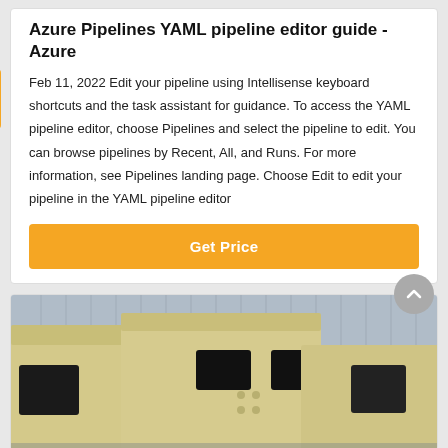Azure Pipelines YAML pipeline editor guide - Azure
Feb 11, 2022 Edit your pipeline using Intellisense keyboard shortcuts and the task assistant for guidance. To access the YAML pipeline editor, choose Pipelines and select the pipeline to edit. You can browse pipelines by Recent, All, and Runs. For more information, see Pipelines landing page. Choose Edit to edit your pipeline in the YAML pipeline editor
[Figure (other): Orange 'Get Price' button]
[Figure (photo): Industrial machinery - large yellow/beige metal equipment photographed outdoors against a building]